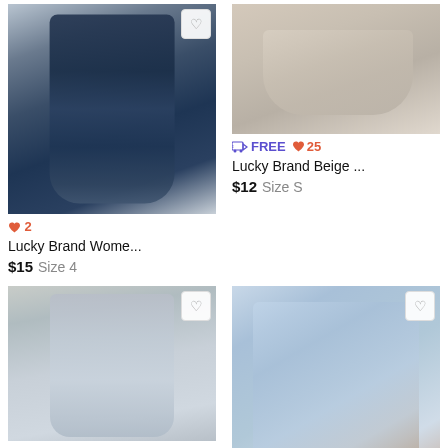[Figure (photo): Dark wash Lucky Brand flare jeans laid flat on white bedding]
♥ 2
Lucky Brand Wome...
$15   Size 4
[Figure (photo): Beige Lucky Brand bralette/sports bra laid flat on white surface]
≡ FREE ♥ 25
Lucky Brand Beige ...
$12   Size S
[Figure (photo): Light wash skinny jeans laid flat on beige carpet]
[Figure (photo): Light wash distressed Lucky Brand denim shorts laid flat on carpet]
♥ 4
Lucky Brand High w...
$13   Size 28